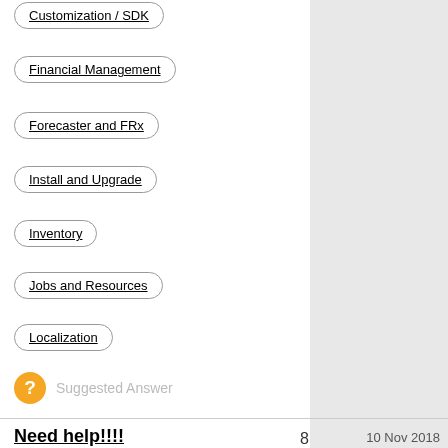Customization / SDK
Financial Management
Forecaster and FRx
Install and Upgrade
Inventory
Jobs and Resources
Localization
Suggested Answer
Need help!!!!
by Kishor T
8
10 Nov 2018
1107 Views
2:48 AM